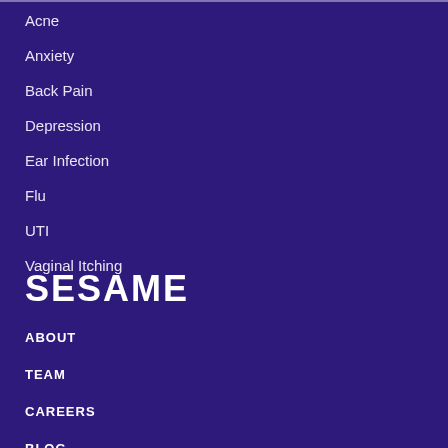Acne
Anxiety
Back Pain
Depression
Ear Infection
Flu
UTI
Vaginal Itching
SESAME
ABOUT
TEAM
CAREERS
BLOG